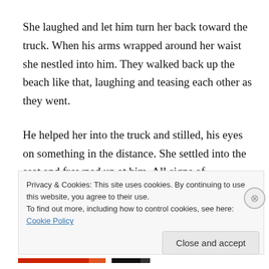She laughed and let him turn her back toward the truck. When his arms wrapped around her waist she nestled into him. They walked back up the beach like that, laughing and teasing each other as they went.
He helped her into the truck and stilled, his eyes on something in the distance. She settled into the seat and frowned up at him. All signs of amusement left his face. His eyes were hard and his jaw set as he scanned the
Privacy & Cookies: This site uses cookies. By continuing to use this website, you agree to their use.
To find out more, including how to control cookies, see here: Cookie Policy
Close and accept